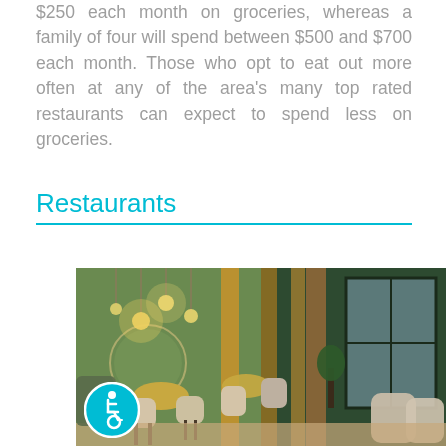$250 each month on groceries, whereas a family of four will spend between $500 and $700 each month. Those who opt to eat out more often at any of the area's many top rated restaurants can expect to spend less on groceries.
Restaurants
[Figure (photo): Interior of a modern restaurant with green walls, warm pendant lights, yellow/orange curtains, brick columns, and beige upholstered chairs around small tables. Large windows visible on the right side.]